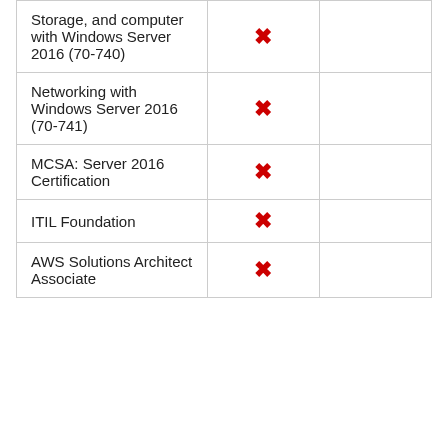|  |  |  |
| --- | --- | --- |
| Storage, and computer with Windows Server 2016 (70-740) | ✗ |  |
| Networking with Windows Server 2016 (70-741) | ✗ |  |
| MCSA: Server 2016 Certification | ✗ |  |
| ITIL Foundation | ✗ |  |
| AWS Solutions Architect Associate | ✗ |  |